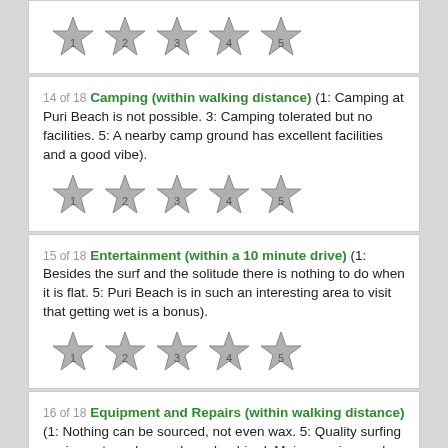[Figure (other): Five numbered stars (1-5) rating widget, partial top card]
14 of 18 Camping (within walking distance) (1: Camping at Puri Beach is not possible. 3: Camping tolerated but no facilities. 5: A nearby camp ground has excellent facilities and a good vibe).
[Figure (other): Five numbered stars (1-5) rating widget for item 14]
15 of 18 Entertainment (within a 10 minute drive) (1: Besides the surf and the solitude there is nothing to do when it is flat. 5: Puri Beach is in such an interesting area to visit that getting wet is a bonus).
[Figure (other): Five numbered stars (1-5) rating widget for item 15]
16 of 18 Equipment and Repairs (within walking distance) (1: Nothing can be sourced, not even wax. 5: Quality surfing equipment can be purchased or hired. Major repairs can be fixed too).
[Figure (other): Five numbered stars (1-5) rating widget for item 16, partially visible]